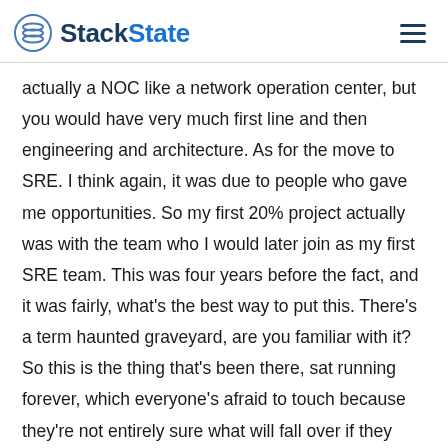StackState
actually a NOC like a network operation center, but you would have very much first line and then engineering and architecture. As for the move to SRE. I think again, it was due to people who gave me opportunities. So my first 20% project actually was with the team who I would later join as my first SRE team. This was four years before the fact, and it was fairly, what's the best way to put this. There's a term haunted graveyard, are you familiar with it? So this is the thing that's been there, sat running forever, which everyone's afraid to touch because they're not entirely sure what will fall over if they break it kind of thing. So like-